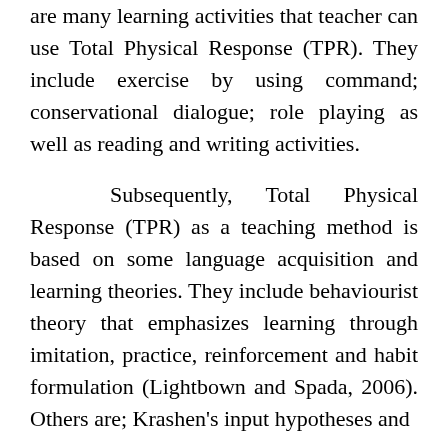are many learning activities that teacher can use Total Physical Response (TPR). They include exercise by using command; conservational dialogue; role playing as well as reading and writing activities.
Subsequently, Total Physical Response (TPR) as a teaching method is based on some language acquisition and learning theories. They include behaviourist theory that emphasizes learning through imitation, practice, reinforcement and habit formulation (Lightbown and Spada, 2006). Others are; Krashen's input hypotheses and